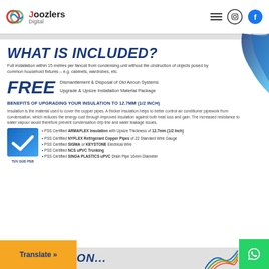Doozlers Digital — navigation header with hamburger menu, Instagram and Facebook icons
WHAT IS INCLUDED?
Full installation within 15 metres per fancoil from condensing unit without the obstruction of objects posed by common household fixtures – e.g. cabinets, wardrobes, etc.
FREE
Dismantlement & Disposal of Old Aircon Systems
Upgrade & Upsize Installation Material Package
BENEFITS OF UPGRADING YOUR INSULATION TO 12.7MM (1/2 INCH)
Insulation is the material used to cover the copper pipes. A thicker insulation helps to better control air conditioner pipework from condensation, which reduces the energy cost through improved insulation against both heat loss and gain. The increased resistance to water vapour would therefore prevent condensation drip line and water leakage issues.
• PSS Certified ARMAFLEX Insulation with Upsize Thickness of 12.7mm (1/2 Inch)
• PSS Certified NYFLEX Refrigerant Copper Pipes of 22 Standard Wire Gauge
• PSS Certified SIGMA or KEYSTONE Electrical Wire
• PSS Certified NCS uPVC Trunking
• PSS Certified SINGA PLASTICS uPVC Drain Pipe 16mm Diameter
TÜV SÜD PSB
INSTALLATION...
Translate »